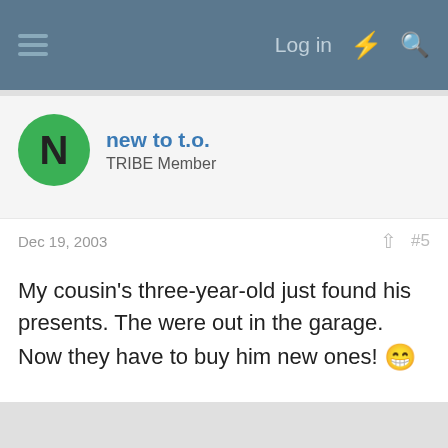Log in
new to t.o.
TRIBE Member
Dec 19, 2003
#5
My cousin's three-year-old just found his presents. The were out in the garage. Now they have to buy him new ones! 😁